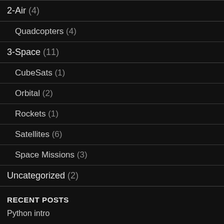2-Air (4)
Quadcopters (4)
3-Space (11)
CubeSats (1)
Orbital (2)
Rockets (1)
Satellites (6)
Space Missions (3)
Uncategorized (2)
RECENT POSTS
Python intro